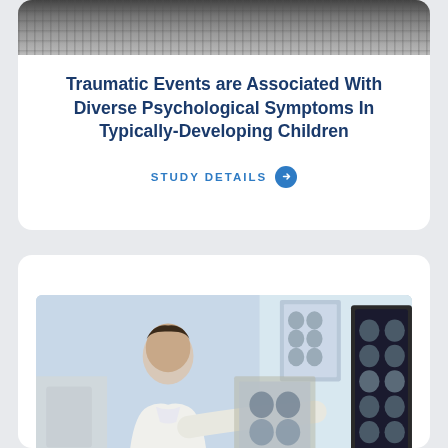[Figure (photo): Top portion of a photo showing a dark/stormy outdoor scene, partially cropped at top of page]
Traumatic Events are Associated With Diverse Psychological Symptoms In Typically-Developing Children
STUDY DETAILS →
[Figure (photo): A doctor in a white coat examining brain MRI scans held up to a display screen showing brain imaging]